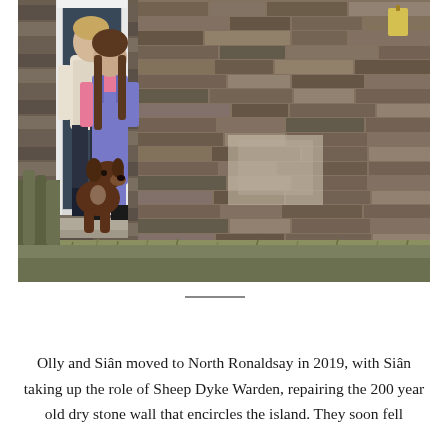[Figure (photo): A man in a cream knit sweater and dark trousers with wellies, and a woman in purple dungarees with long brown hair, standing in a doorway of a stone wall building. A brown dog sits in front of them. The background is a textured dry stone wall.]
Olly and Siân moved to North Ronaldsay in 2019, with Siân taking up the role of Sheep Dyke Warden, repairing the 200 year old dry stone wall that encircles the island. They soon fell